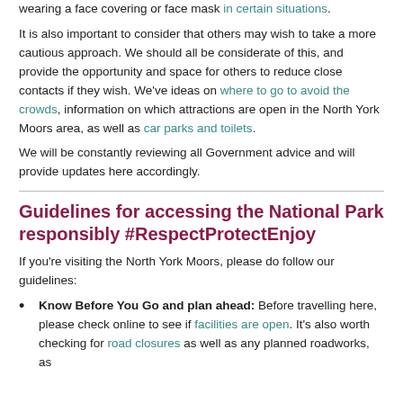wearing a face covering or face mask in certain situations.
It is also important to consider that others may wish to take a more cautious approach. We should all be considerate of this, and provide the opportunity and space for others to reduce close contacts if they wish. We've ideas on where to go to avoid the crowds, information on which attractions are open in the North York Moors area, as well as car parks and toilets.
We will be constantly reviewing all Government advice and will provide updates here accordingly.
Guidelines for accessing the National Park responsibly #RespectProtectEnjoy
If you're visiting the North York Moors, please do follow our guidelines:
Know Before You Go and plan ahead: Before travelling here, please check online to see if facilities are open. It's also worth checking for road closures as well as any planned roadworks, as